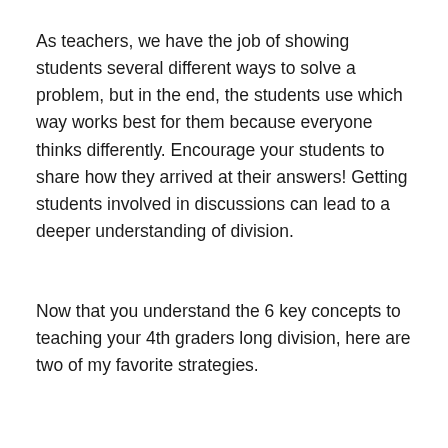As teachers, we have the job of showing students several different ways to solve a problem, but in the end, the students use which way works best for them because everyone thinks differently. Encourage your students to share how they arrived at their answers! Getting students involved in discussions can lead to a deeper understanding of division.
Now that you understand the 6 key concepts to teaching your 4th graders long division, here are two of my favorite strategies.